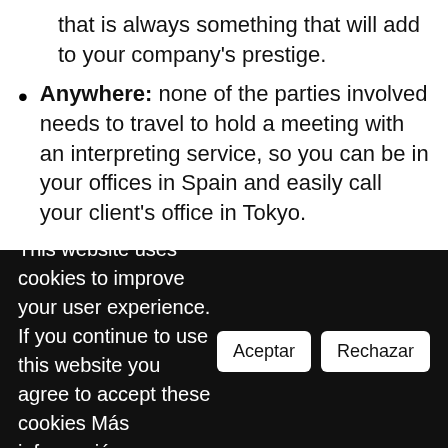that is always something that will add to your company's prestige.
Anywhere: none of the parties involved needs to travel to hold a meeting with an interpreting service, so you can be in your offices in Spain and easily call your client's office in Tokyo.
This website uses cookies to improve your user experience. If you continue to use this website you agree to accept these cookies Más información.